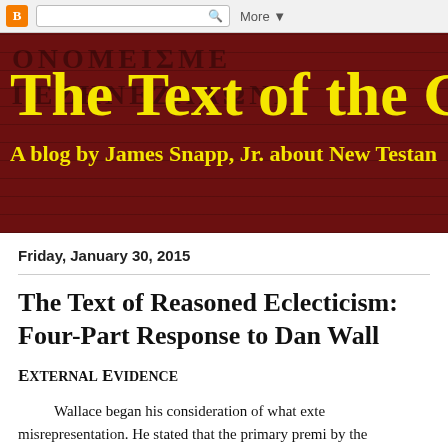Blogger navigation bar with logo, search box, and More button
[Figure (illustration): Blog header banner with dark red background showing ancient Greek manuscript text texture. Title reads 'The Text of the Go' (truncated) in large yellow serif font, subtitle reads 'A blog by James Snapp, Jr. about New Testa' (truncated) in yellow.]
Friday, January 30, 2015
The Text of Reasoned Eclecticism: A Four-Part Response to Dan Wall
External Evidence
Wallace began his consideration of what exte misrepresentation.  He stated that the primary premi by the manuscript tradition is unlikely to be i